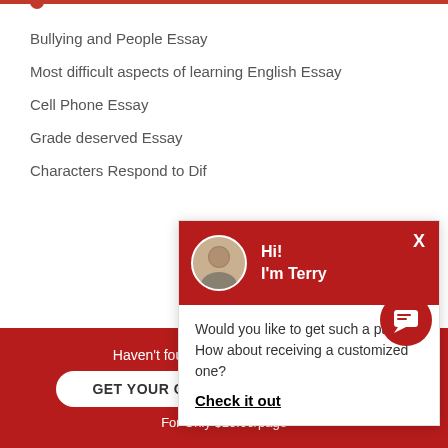Bullying and People Essay
Most difficult aspects of learning English Essay
Cell Phone Essay
Grade deserved Essay
Characters Respond to Dif...
Categories
Free Essays (7,849)
[Figure (screenshot): Chat popup with avatar of Terry, greeting 'Hi! I'm Terry', and message 'Would you like to get such a paper? How about receiving a customized one? Check it out']
Haven't found the Essay You Want?
GET YOUR CUSTOM ESSAY SAMPLE
For Only $13.90/page